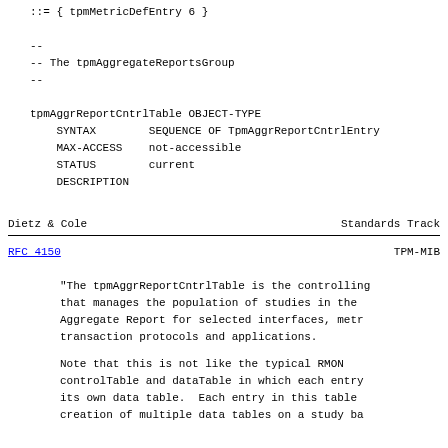::= { tpmMetricDefEntry 6 }

--
-- The tpmAggregateReportsGroup
--

tpmAggrReportCntrlTable OBJECT-TYPE
    SYNTAX        SEQUENCE OF TpmAggrReportCntrlEntry
    MAX-ACCESS    not-accessible
    STATUS        current
    DESCRIPTION
Dietz & Cole                      Standards Track
RFC 4150                              TPM-MIB
"The tpmAggrReportCntrlTable is the controlling table that manages the population of studies in the Aggregate Report for selected interfaces, metrics, transaction protocols and applications.

Note that this is not like the typical RMON controlTable and dataTable in which each entry has its own data table.  Each entry in this table allows creation of multiple data tables on a study basis.